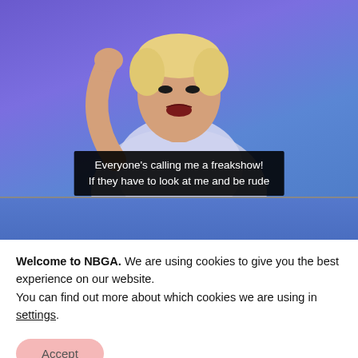[Figure (photo): Video screenshot of a person with short blonde hair, dark lipstick, choker necklace, wearing a light blue/white t-shirt, gesturing with arm raised, against a blue background. Subtitle bar reads: "Everyone's calling me a freakshow! If they have to look at me and be rude". A blue bar appears at the bottom of the video frame.]
Welcome to NBGA. We are using cookies to give you the best experience on our website.
You can find out more about which cookies we are using in settings.